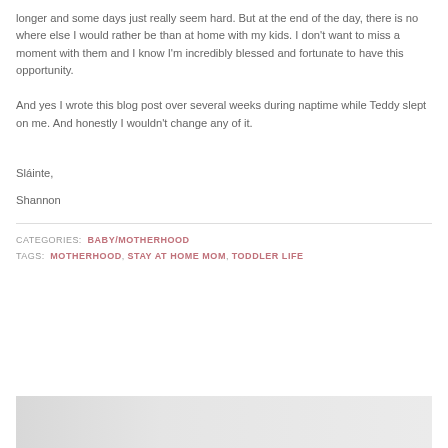longer and some days just really seem hard. But at the end of the day, there is no where else I would rather be than at home with my kids. I don't want to miss a moment with them and I know I'm incredibly blessed and fortunate to have this opportunity.
And yes I wrote this blog post over several weeks during naptime while Teddy slept on me. And honestly I wouldn't change any of it.
Sláinte,
Shannon
CATEGORIES:  BABY/MOTHERHOOD
TAGS:  MOTHERHOOD, STAY AT HOME MOM, TODDLER LIFE
[Figure (photo): Bottom portion of a photo, partially visible at the bottom of the page, light gray background.]